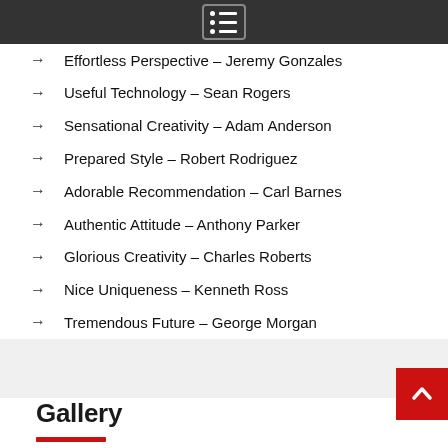Effortless Perspective – Jeremy Gonzales
Useful Technology – Sean Rogers
Sensational Creativity – Adam Anderson
Prepared Style – Robert Rodriguez
Adorable Recommendation – Carl Barnes
Authentic Attitude – Anthony Parker
Glorious Creativity – Charles Roberts
Nice Uniqueness – Kenneth Ross
Tremendous Future – George Morgan
Gallery